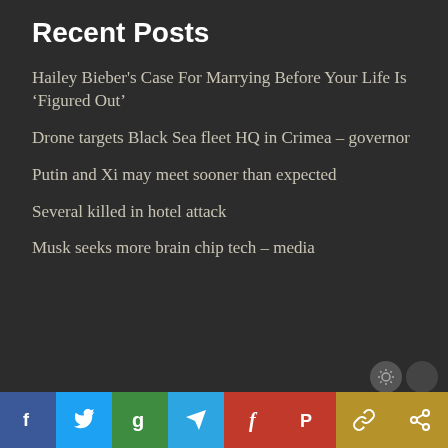Recent Posts
Hailey Bieber's Case For Marrying Before Your Life Is ‘Figured Out’
Drone targets Black Sea fleet HQ in Crimea – governor
Putin and Xi may meet sooner than expected
Several killed in hotel attack
Musk seeks more brain chip tech – media